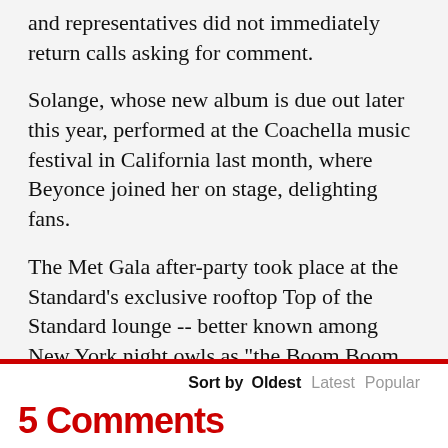and representatives did not immediately return calls asking for comment.
Solange, whose new album is due out later this year, performed at the Coachella music festival in California last month, where Beyonce joined her on stage, delighting fans.
The Met Gala after-party took place at the Standard's exclusive rooftop Top of the Standard lounge -- better known among New York night owls as "the Boom Boom Room."
© (c) 2014 AFP
Sort by  Oldest  Latest  Popular
5 Comments